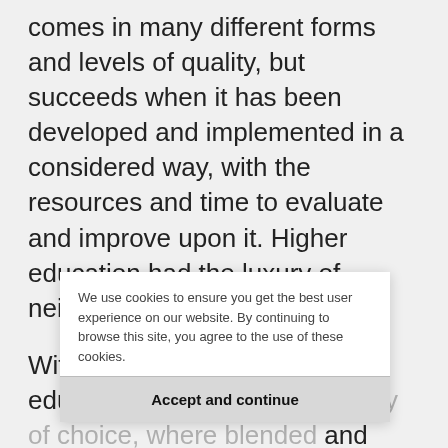comes in many different forms and levels of quality, but succeeds when it has been developed and implemented in a considered way, with the resources and time to evaluate and improve upon it. Higher education had the luxury of neither in 2020.
Within the last year, higher education has created a tyranny of choice, where blended and online models have proliferated in endless variations and with equally varying success (Senior et al, 2021). The anxiety around an ab... compounded when there is an inability to
We use cookies to ensure you get the best user experience on our website. By continuing to browse this site, you agree to the use of these cookies.
Accept and continue